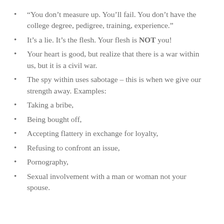“You don’t measure up. You’ll fail. You don’t have the college degree, pedigree, training, experience.”
It’s a lie. It’s the flesh. Your flesh is NOT you!
Your heart is good, but realize that there is a war within us, but it is a civil war.
The spy within uses sabotage – this is when we give our strength away. Examples:
Taking a bribe,
Being bought off,
Accepting flattery in exchange for loyalty,
Refusing to confront an issue,
Pornography,
Sexual involvement with a man or woman not your spouse.